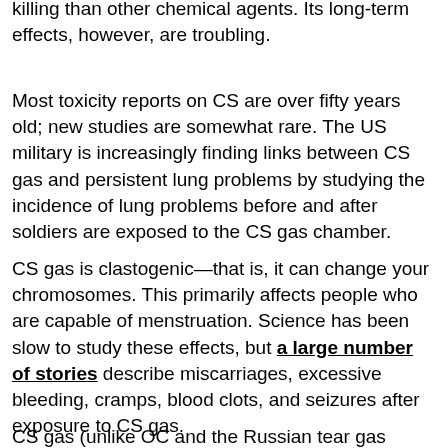killing than other chemical agents. Its long-term effects, however, are troubling.
Most toxicity reports on CS are over fifty years old; new studies are somewhat rare. The US military is increasingly finding links between CS gas and persistent lung problems by studying the incidence of lung problems before and after soldiers are exposed to the CS gas chamber.
CS gas is clastogenic—that is, it can change your chromosomes. This primarily affects people who are capable of menstruation. Science has been slow to study these effects, but a large number of stories describe miscarriages, excessive bleeding, cramps, blood clots, and seizures after exposure to CS gas.
CS gas (unlike OC and the Russian tear gas MPK) is